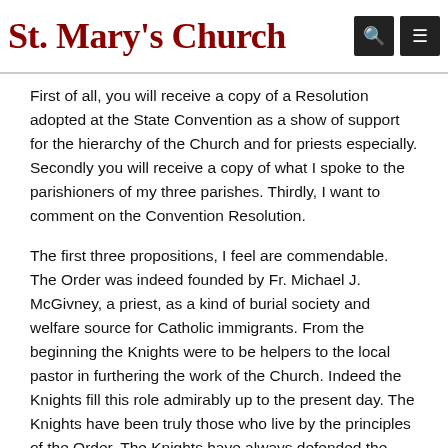St. Mary's Church
First of all, you will receive a copy of a Resolution adopted at the State Convention as a show of support for the hierarchy of the Church and for priests especially. Secondly you will receive a copy of what I spoke to the parishioners of my three parishes. Thirdly, I want to comment on the Convention Resolution.
The first three propositions, I feel are commendable. The Order was indeed founded by Fr. Michael J. McGivney, a priest, as a kind of burial society and welfare source for Catholic immigrants. From the beginning the Knights were to be helpers to the local pastor in furthering the work of the Church. Indeed the Knights fill this role admirably up to the present day. The Knights have been truly those who live by the principles of the Order. The Knights have always defended the priests and bishops of the Church. They are doing this even as we speak. In fact, their defense is the reason that we speak.
We are a Eucharistic Church with a sacrificing priesthood. Priests